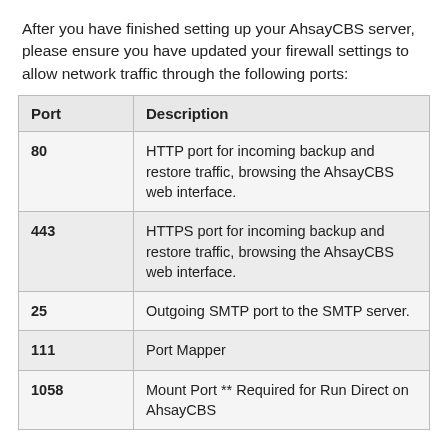After you have finished setting up your AhsayCBS server, please ensure you have updated your firewall settings to allow network traffic through the following ports:
| Port | Description |
| --- | --- |
| 80 | HTTP port for incoming backup and restore traffic, browsing the AhsayCBS web interface. |
| 443 | HTTPS port for incoming backup and restore traffic, browsing the AhsayCBS web interface. |
| 25 | Outgoing SMTP port to the SMTP server. |
| 111 | Port Mapper |
| 1058 | Mount Port ** Required for Run Direct on AhsayCBS |